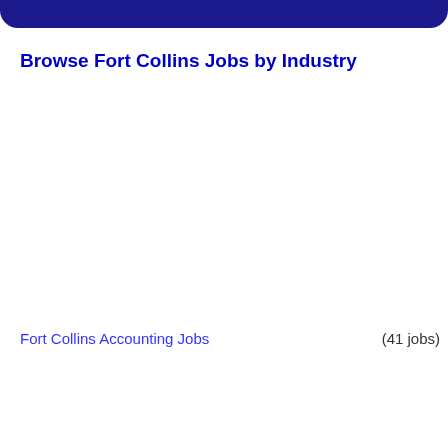Browse Fort Collins Jobs by Industry
Fort Collins Accounting Jobs  (41 jobs)